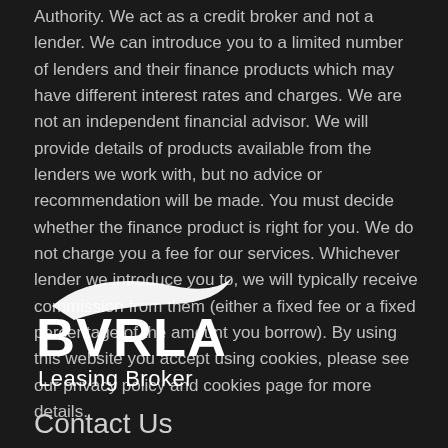Authority. We act as a credit broker and not a lender. We can introduce you to a limited number of lenders and their finance products which may have different interest rates and charges. We are not an independent financial advisor. We will provide details of products available from the lenders we work with, but no advice or recommendation will be made. You must decide whether the finance product is right for you. We do not charge you a fee for our services. Whichever lender we introduce you to, we will typically receive commission from them (either a fixed fee or a fixed percentage of the amount you borrow). By using this website you accept using cookies, please see our privacy policy and cookies page for more details.
[Figure (logo): BVRLA Leasing Broker logo — white swoosh arc above bold white 'BVRLA' text with 'Leasing Broker' below in lighter weight]
Contact Us